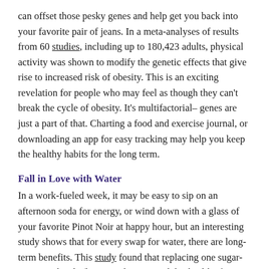can offset those pesky genes and help get you back into your favorite pair of jeans. In a meta-analyses of results from 60 studies, including up to 180,423 adults, physical activity was shown to modify the genetic effects that give rise to increased risk of obesity. This is an exciting revelation for people who may feel as though they can't break the cycle of obesity. It's multifactorial– genes are just a part of that. Charting a food and exercise journal, or downloading an app for easy tracking may help you keep the healthy habits for the long term.
Fall in Love with Water
In a work-fueled week, it may be easy to sip on an afternoon soda for energy, or wind down with a glass of your favorite Pinot Noir at happy hour, but an interesting study shows that for every swap for water, there are long-term benefits. This study found that replacing one sugar-sweetened soda (but not other sugared drinks, like fruit juices) or beer with one serving